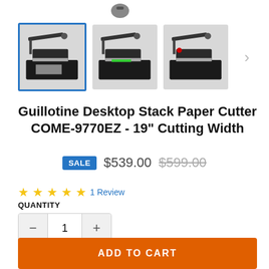[Figure (photo): Three thumbnail images of a guillotine desktop paper cutter on a black base, shown from slightly different angles. First image is selected with blue border.]
Guillotine Desktop Stack Paper Cutter COME-9770EZ - 19" Cutting Width
SALE $539.00 $599.00
★★★★★ 1 Review
QUANTITY
- 1 +
ADD TO CART